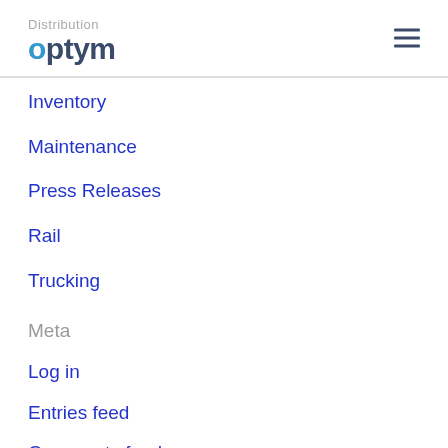Distribution optym
Inventory
Maintenance
Press Releases
Rail
Trucking
Meta
Log in
Entries feed
Comments feed